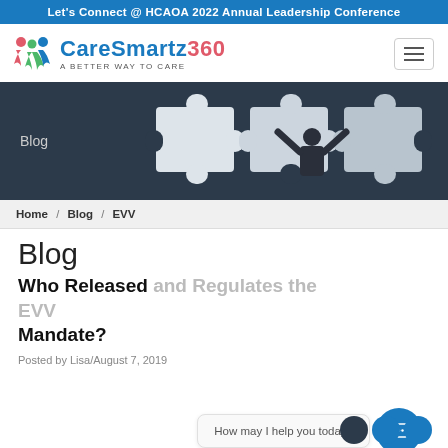Let's Connect @ HCAOA 2022 Annual Leadership Conference
[Figure (logo): CareSmartz360 logo with tagline 'A Better Way to Care']
[Figure (photo): Hero image showing a person with raised arms assembling large puzzle pieces against a dark background, with 'Blog' label overlay]
Home / Blog / EVV
Blog
Who Released and Regulates the EVV Mandate?
Posted by Lisa/August 7, 2019
[Figure (screenshot): Chat widget showing 'How may I help you today?' message bubble with blue chat button]